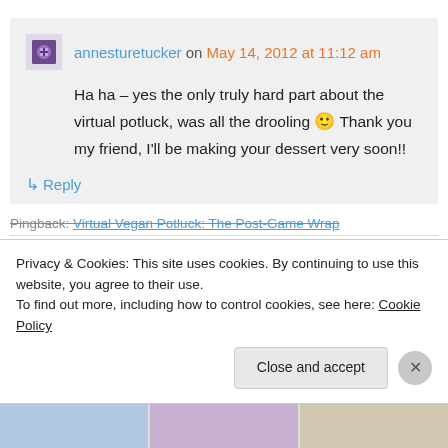annesturetucker on May 14, 2012 at 11:12 am
Ha ha – yes the only truly hard part about the virtual potluck, was all the drooling 🙂 Thank you my friend, I'll be making your dessert very soon!!
↳ Reply
Pingback: Virtual Vegan Potluck: The Post-Game Wrap
Privacy & Cookies: This site uses cookies. By continuing to use this website, you agree to their use.
To find out more, including how to control cookies, see here: Cookie Policy